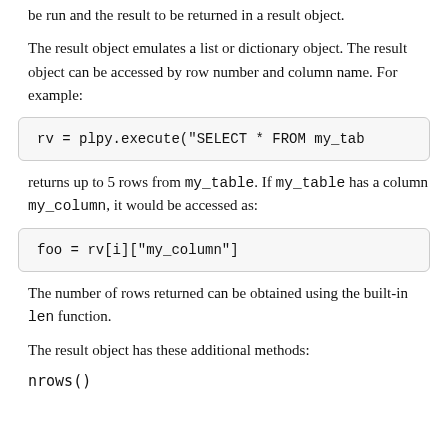be run and the result to be returned in a result object.
The result object emulates a list or dictionary object. The result object can be accessed by row number and column name. For example:
rv = plpy.execute("SELECT * FROM my_tab
returns up to 5 rows from my_table. If my_table has a column my_column, it would be accessed as:
foo = rv[i]["my_column"]
The number of rows returned can be obtained using the built-in len function.
The result object has these additional methods:
nrows()